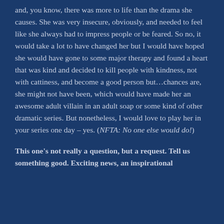and, you know, there was more to life than the drama she causes. She was very insecure, obviously, and needed to feel like she always had to impress people or be feared. So no, it would take a lot to have changed her but I would have hoped she would have gone to some major therapy and found a heart that was kind and decided to kill people with kindness, not with cattiness, and become a good person but…chances are, she might not have been, which would have made her an awesome adult villain in an adult soap or some kind of other dramatic series. But nonetheless, I would love to play her in your series one day – yes. (NFTA: No one else would do!)
This one's not really a question, but a request. Tell us something good. Exciting news, an inspirational